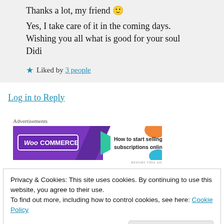Thanks a lot, my friend 🙂
Yes, I take care of it in the coming days.
Wishing you all what is good for your soul
Didi
★ Liked by 3 people
Log in to Reply
Advertisements
[Figure (other): WooCommerce advertisement banner: 'How to start selling subscriptions online']
REPORT THIS AD
Privacy & Cookies: This site uses cookies. By continuing to use this website, you agree to their use.
To find out more, including how to control cookies, see here: Cookie Policy
Close and accept